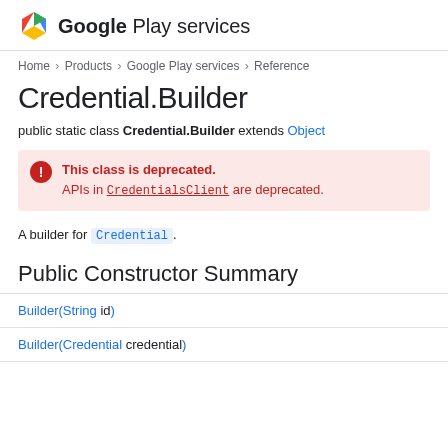Google Play services
Home > Products > Google Play services > Reference
Credential.Builder
public static class Credential.Builder extends Object
This class is deprecated. APIs in CredentialsClient are deprecated.
A builder for Credential.
Public Constructor Summary
| Constructor |
| --- |
| Builder(String id) |
| Builder(Credential credential) |